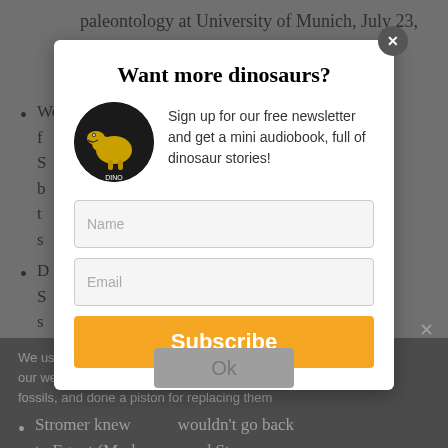paleontology at University of Munich, July 23, 1921, became a full member of the Bavarian Academy of Sciences
Worked with international scientists to get his f... on, S... ormer b... fficials t... e s...
D... S... y s...
We use... nce on our web... hat you fossils, and done a piston for replacing them
Stromer knew... wouldn't go back to Egypt (Mark... and Stromer poor
[Figure (screenshot): Modal popup dialog with title 'Want more dinosaurs?', a dinosaur book logo image, descriptive text about newsletter signup, Name and Email input fields, and an orange Subscribe button. Has an X close button in top right corner.]
Want more dinosaurs?
Sign up for our free newsletter and get a mini audiobook, full of dinosaur stories!
Name
Email
Subscribe